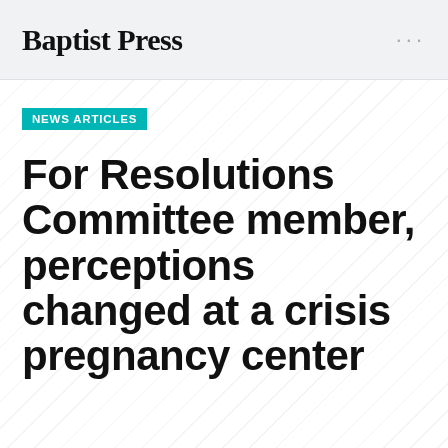Baptist Press
NEWS ARTICLES
For Resolutions Committee member, perceptions changed at a crisis pregnancy center